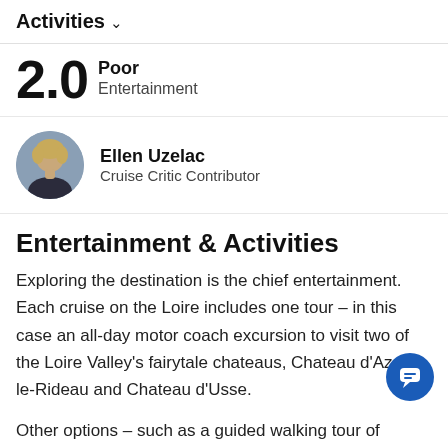Activities ∨
2.0 Poor
Entertainment
[Figure (photo): Circular profile photo of Ellen Uzelac, a woman with blonde hair]
Ellen Uzelac
Cruise Critic Contributor
Entertainment & Activities
Exploring the destination is the chief entertainment. Each cruise on the Loire includes one tour – in this case an all-day motor coach excursion to visit two of the Loire Valley's fairytale chateaus, Chateau d'Azay-le-Rideau and Chateau d'Usse.
Other options – such as a guided walking tour of